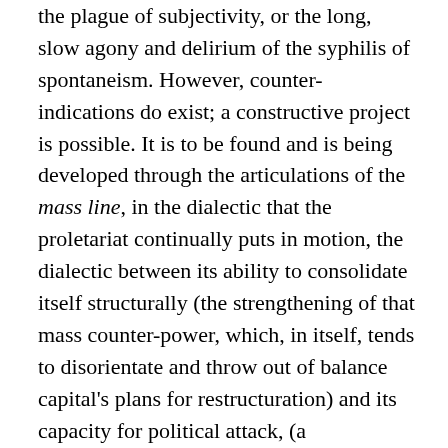the plague of subjectivity, or the long, slow agony and delirium of the syphilis of spontaneism. However, counter-indications do exist; a constructive project is possible. It is to be found and is being developed through the articulations of the mass line, in the dialectic that the proletariat continually puts in motion, the dialectic between its ability to consolidate itself structurally (the strengthening of that mass counter-power, which, in itself, tends to disorientate and throw out of balance capital's plans for restructuration) and its capacity for political attack, (a destabilising capacity which shatters the nodes of the enemy's power, which emphasises and shows the emptiness of the spectacular nature of that power, and destroys its force). This dialectic is internal to the mass movement, and we need to deepen it further. As I have stated, the project of destructuring the capitalist